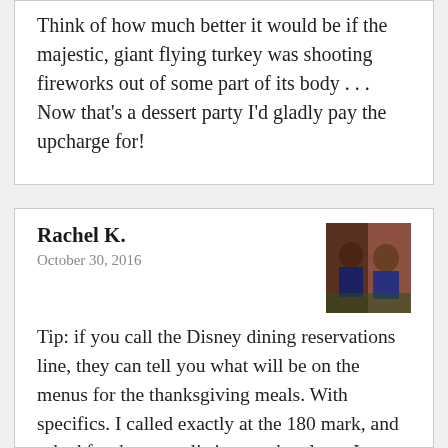Think of how much better it would be if the majestic, giant flying turkey was shooting fireworks out of some part of its body . . . Now that's a dessert party I'd gladly pay the upcharge for!
Rachel K.
October 30, 2016
[Figure (photo): Small profile photo of a person, appears to show two people, reddish-brown tones]
Tip: if you call the Disney dining reservations line, they can tell you what will be on the menus for the thanksgiving meals. With specifics. I called exactly at the 180 mark, and asked for the menu listings at the places I was interested in – it took awhile to get through the full menus but it was totally worth it. We will dine on a special African inspired Thanksgiving meal...